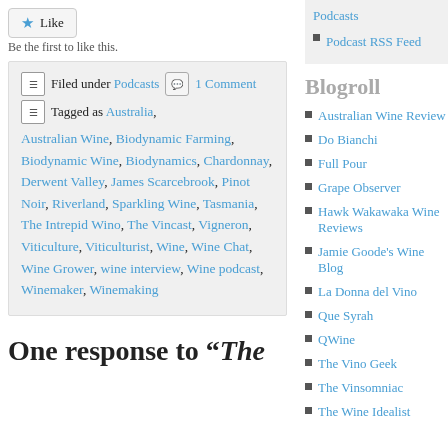Like
Be the first to like this.
Filed under Podcasts  1 Comment
Tagged as Australia, Australian Wine, Biodynamic Farming, Biodynamic Wine, Biodynamics, Chardonnay, Derwent Valley, James Scarcebrook, Pinot Noir, Riverland, Sparkling Wine, Tasmania, The Intrepid Wino, The Vincast, Vigneron, Viticulture, Viticulturist, Wine, Wine Chat, Wine Grower, wine interview, Wine podcast, Winemaker, Winemaking
One response to “The
Podcasts
Podcast RSS Feed
Blogroll
Australian Wine Review
Do Bianchi
Full Pour
Grape Observer
Hawk Wakawaka Wine Reviews
Jamie Goode's Wine Blog
La Donna del Vino
Que Syrah
QWine
The Vino Geek
The Vinsomniac
The Wine Idealist